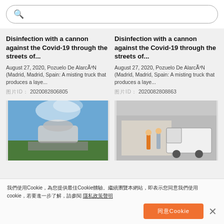[Figure (screenshot): Search bar with magnifying glass icon and placeholder text in Japanese/CJK characters]
Disinfection with a cannon against the Covid-19 through the streets of...
August 27, 2020, Pozuelo De AlarcÃ³N (Madrid, Madrid, Spain: A misting truck that produces a laye...
圖片ID: 2020082806805
Disinfection with a cannon against the Covid-19 through the streets of...
August 27, 2020, Pozuelo De AlarcÃ³N (Madrid, Madrid, Spain: A misting truck that produces a laye...
圖片ID: 2020082808863
[Figure (photo): A misting cannon machine spraying water/disinfectant against a blue sky with trees]
[Figure (photo): People standing in front of a white truck/vehicle near a building]
我們使用Cookie，為您提供最佳Cookie體驗。繼續瀏覽本網站，即表示您同意我們使用cookie，若要進一步了解，請參閱 隱私政策聲明